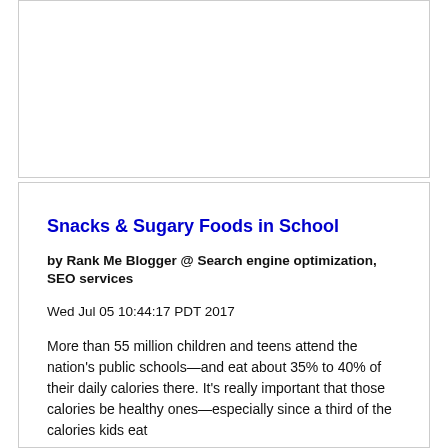[Figure (other): Empty white card/box at the top of the page]
Snacks & Sugary Foods in School
by Rank Me Blogger @ Search engine optimization, SEO services
Wed Jul 05 10:44:17 PDT 2017
More than 55 million children and teens attend the nation's public schools—and eat about 35% to 40% of their daily calories there. It's really important that those calories be healthy ones—especially since a third of the calories kids eat